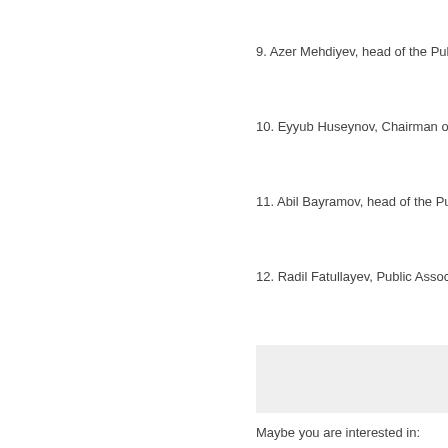9. Azer Mehdiyev, head of the Public a
10. Eyyub Huseynov, Chairman of the
11. Abil Bayramov, head of the Public
12. Radil Fatullayev, Public Associatio
Maybe you are interested in:
Azerbaijan's Economy to Con
US Dollar Rises in Price, Desp